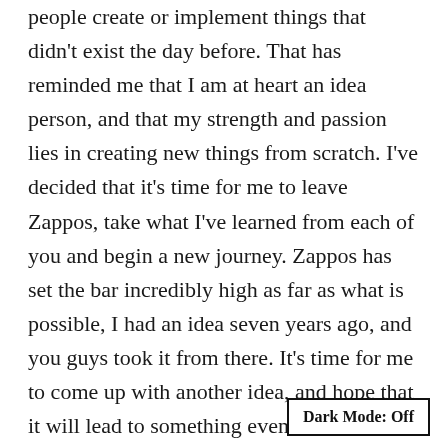people create or implement things that didn't exist the day before. That has reminded me that I am at heart an idea person, and that my strength and passion lies in creating new things from scratch. I've decided that it's time for me to leave Zappos, take what I've learned from each of you and begin a new journey. Zappos has set the bar incredibly high as far as what is possible, I had an idea seven years ago, and you guys took it from there. It's time for me to come up with another idea, and hope that it will lead to something even close to as amazing as this experience has been.
While I'll no longer be an employee, I'll still be
Dark Mode: Off